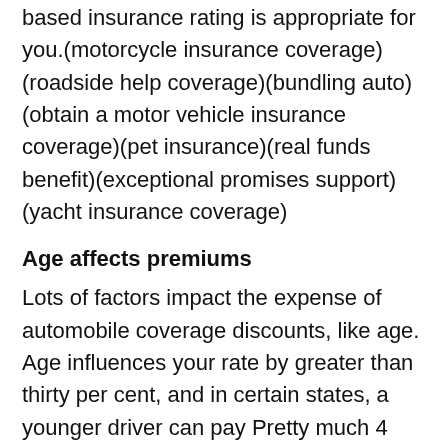based insurance rating is appropriate for you.(motorcycle insurance coverage)(roadside help coverage)(bundling auto)(obtain a motor vehicle insurance coverage)(pet insurance)(real funds benefit)(exceptional promises support)(yacht insurance coverage)
Age affects premiums
Lots of factors impact the expense of automobile coverage discounts, like age. Age influences your rate by greater than thirty per cent, and in certain states, a younger driver can pay Pretty much 4 times around a 30-year-old. Inexperience is another significant issue, as youthful young people usually tend to go into incidents. By knowledge what elements have an effect on your rates, you could negotiate reduce prices on your own. Listed down below are several of the ways that age influences your car insurance coverage.
In general, the younger you happen to be, the reduced your rates are going to be. But Should you be a man, age does have an effect on the cost of your car insurance coverage...